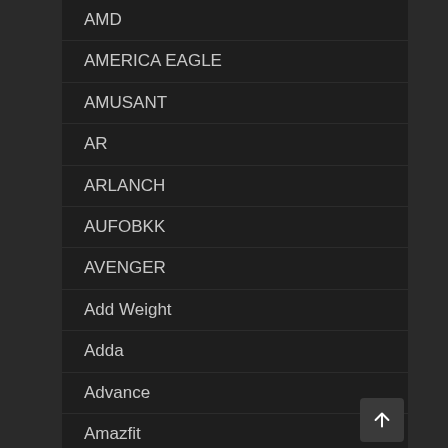AMD
AMERICA EAGLE
AMUSANT
AR
ARLANCH
AUFOBKK
AVENGER
Add Weight
Adda
Advance
Amazfit
Amor
Amore
Android Smart TV BOX